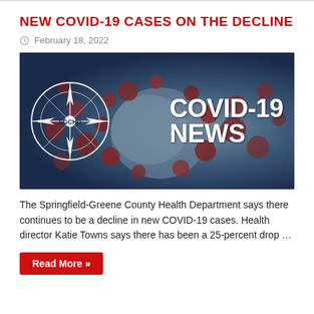NEW COVID-19 CASES ON THE DECLINE
February 18, 2022
[Figure (photo): SGCHD COVID-19 NEWS banner image showing a coronavirus particle in blue/dark background with the Springfield-Greene County Health Department logo (SGCHD compass logo) on the left and 'COVID-19 NEWS' in large white text on the right.]
The Springfield-Greene County Health Department says there continues to be a decline in new COVID-19 cases. Health director Katie Towns says there has been a 25-percent drop …
Read More »